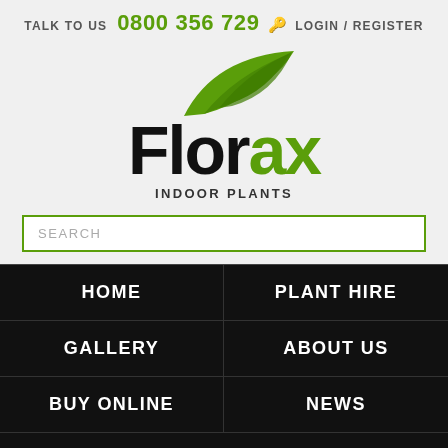TALK TO US 0800 356 729 🔑 LOGIN / REGISTER
[Figure (logo): Florax Indoor Plants logo with green leaf graphic above the text]
SEARCH
HOME
PLANT HIRE
GALLERY
ABOUT US
BUY ONLINE
NEWS
CONTACT US
Home > News > Clean air plants